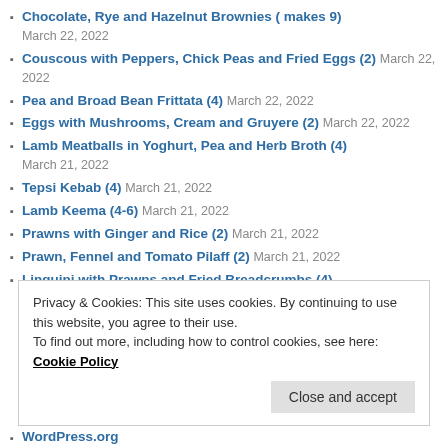Chocolate, Rye and Hazelnut Brownies ( makes 9) March 22, 2022
Couscous with Peppers, Chick Peas and Fried Eggs (2) March 22, 2022
Pea and Broad Bean Frittata (4) March 22, 2022
Eggs with Mushrooms, Cream and Gruyere (2) March 22, 2022
Lamb Meatballs in Yoghurt, Pea and Herb Broth (4) March 21, 2022
Tepsi Kebab (4) March 21, 2022
Lamb Keema (4-6) March 21, 2022
Prawns with Ginger and Rice (2) March 21, 2022
Prawn, Fennel and Tomato Pilaff (2) March 21, 2022
Linguini with Prawns and Fried Breadcrumbs (4)
Privacy & Cookies: This site uses cookies. By continuing to use this website, you agree to their use. To find out more, including how to control cookies, see here: Cookie Policy
WordPress.org